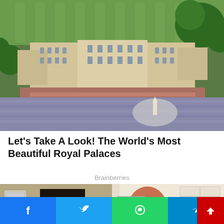[Figure (photo): Aerial view of Buckingham Palace with large crowd gathered in front, green parkland visible behind the palace.]
Let's Take A Look! The World's Most Beautiful Royal Palaces
Brainberries
[Figure (photo): Two-panel image: left shows an interior room with dark doorway; right shows a person holding a large oversized foot.]
[Figure (other): Social share bar with Facebook, Twitter, WhatsApp, and Telegram buttons, and a red scroll-to-top button.]